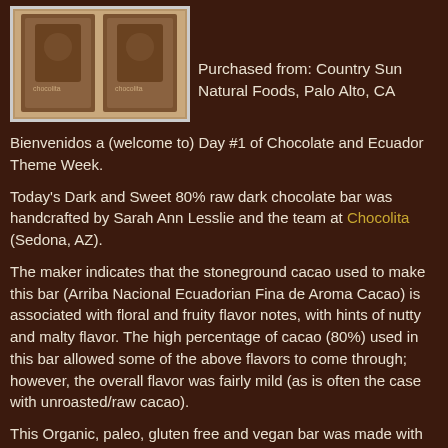[Figure (photo): Photo of two Chocolita chocolate bars with embossed branding on a wooden surface]
Purchased from: Country Sun Natural Foods, Palo Alto, CA
Bienvenidos a (welcome to) Day #1 of Chocolate and Ecuador Theme Week.
Today’s Dark and Sweet 80% raw dark chocolate bar was handcrafted by Sarah Ann Lesslie and the team at Chocolita (Sedona, AZ).
The maker indicates that the stoneground cacao used to make this bar (Arriba Nacional Ecuadorian Fina de Aroma Cacao) is associated with floral and fruity flavor notes, with hints of nutty and malty flavor. The high percentage of cacao (80%) used in this bar allowed some of the above flavors to come through; however, the overall flavor was fairly mild (as is often the case with unroasted/raw cacao).
This Organic, paleo, gluten free and vegan bar was made with fair trade ingredients. The bar was sweetened with